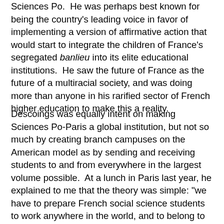Sciences Po.  He was perhaps best known for being the country's leading voice in favor of implementing a version of affirmative action that would start to integrate the children of France's segregated banlieu into its elite educational institutions.  He saw the future of France as the future of a multiracial society, and was doing more than anyone in his rarified sector of French higher education to make this a reality.
Descoings was equally intent on making Sciences Po-Paris a global institution, but not so much by creating branch campuses on the American model as by sending and receiving students to and from everywhere in the largest volume possible.  At a lunch in Paris last year, he explained to me that the theory was simple: "we have to prepare French social science students to work anywhere in the world, and to belong to the world."  The implementation was not always easy, as I well knew from various bureaucratic discussions I had had with Sciences Po staff in my capacity as the director of the University of California's education abroad programs there.  But he had helped create one of the most exciting places for foreign as well as French students in